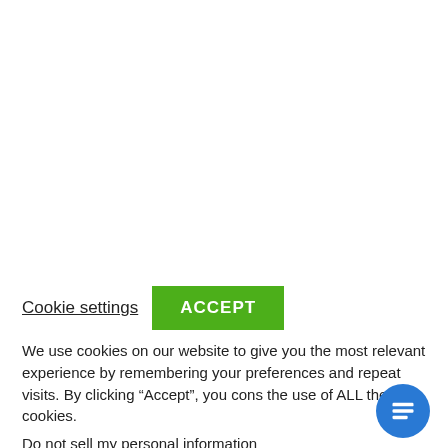Cookie settings
ACCEPT
We use cookies on our website to give you the most relevant experience by remembering your preferences and repeat visits. By clicking “Accept”, you cons the use of ALL the cookies.
Do not sell my personal information.